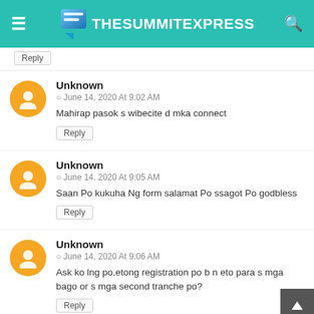TheSummitExpress
Reply
Unknown
© June 14, 2020 At 9:02 AM
Mahirap pasok s wibecite d mka connect
Reply
Unknown
© June 14, 2020 At 9:05 AM
Saan Po kukuha Ng form salamat Po ssagot Po godbless
Reply
Unknown
© June 14, 2020 At 9:06 AM
Ask ko lng po,etong registration po b n eto para s mga bago or s mga second tranche po?
Reply